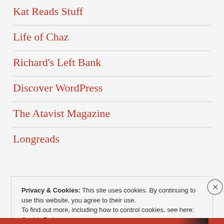Kat Reads Stuff
Life of Chaz
Richard's Left Bank
Discover WordPress
The Atavist Magazine
Longreads
Privacy & Cookies: This site uses cookies. By continuing to use this website, you agree to their use. To find out more, including how to control cookies, see here: Cookie Policy
Close and accept